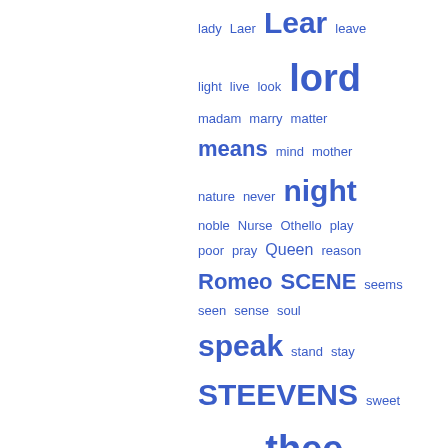[Figure (other): Word cloud of Shakespeare-related terms in varying font sizes representing frequency, rendered in blue on white background. Words include: lady, Laer, Lear, leave, light, live, look, lord, madam, marry, matter, means, mind, mother, nature, never, night, noble, Nurse, Othello, play, poor, pray, Queen, reason, Romeo, SCENE, seems, seen, sense, soul, speak, stand, stay, STEEVENS, sweet, sword, tell, thee, thine, thing, thou, thou art, thought, true, turn, VIII, villain, WARBURTON, wife, wife, young]